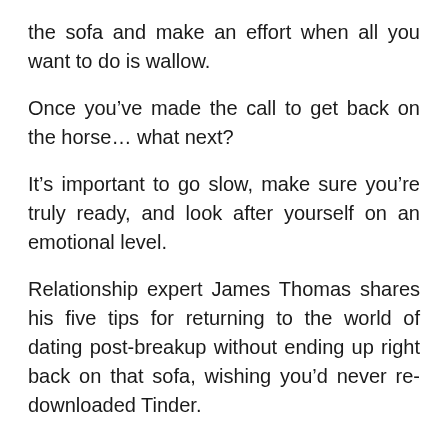the sofa and make an effort when all you want to do is wallow.
Once you've made the call to get back on the horse… what next?
It's important to go slow, make sure you're truly ready, and look after yourself on an emotional level.
Relationship expert James Thomas shares his five tips for returning to the world of dating post-breakup without ending up right back on that sofa, wishing you'd never re-downloaded Tinder.